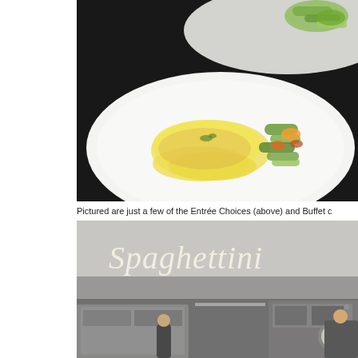[Figure (photo): Two white plates on a dark background. The foreground plate contains a piece of fish or chicken with a creamy yellow sauce, accompanied by roasted zucchini and vegetable medley. A partial second plate is visible at the top with similar vegetables.]
Pictured are just a few of the Entrée Choices (above) and Buffet c...
[Figure (photo): Interior photo of a Spaghettini restaurant showing the cursive 'Spaghettini' sign on the wall above a commercial kitchen area with stainless steel equipment and staff working.]